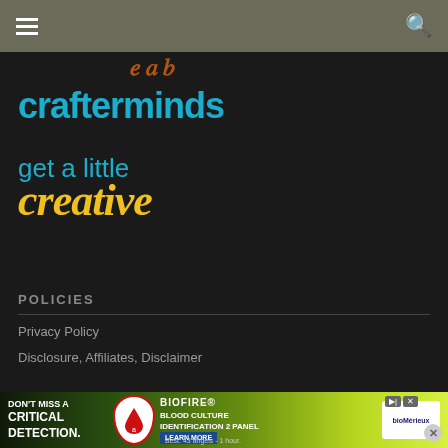Navigation bar with hamburger menu and search icon
[Figure (logo): Partial orange/brown script letters peeking at top center]
crafterminds
get a little creative
POLICIES
Privacy Policy
Disclosure, Affiliates, Disclaimer
[Figure (infographic): BioFire Blood Culture Identification 2 Panel advertisement banner at bottom of page]